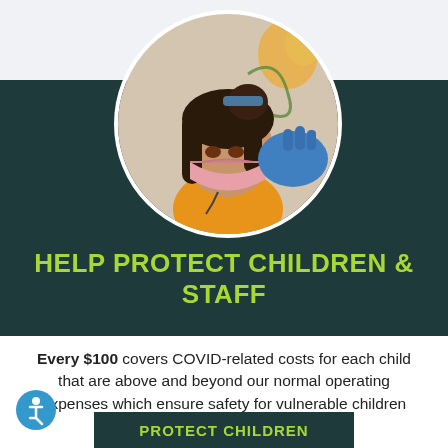[Figure (photo): Circular photo of a young child wearing a pink face mask, being assisted by someone wearing blue medical gloves, with a floral background.]
HELP PROTECT CHILDREN & STAFF
Every $100 covers COVID-related costs for each child that are above and beyond our normal operating expenses which ensure safety for vulnerable children and our staff.
[Figure (logo): Accessibility icon: blue circle with white person symbol (wheelchair accessibility icon)]
PROTECT CHILDREN